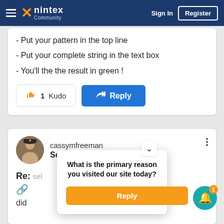nintex Community | Sign In | Register
- Put your pattern in the top line
- Put your complete string in the text box
- You'll the the result in green !
1 Kudo | Reply
cassymfreeman
Scout
Re: sel…
did
What is the primary reason you visited our site today?
Reply